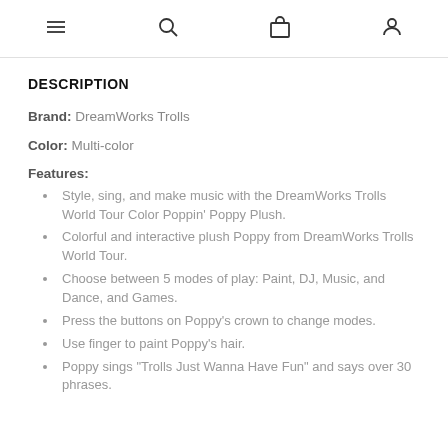Navigation bar with menu, search, bag, and account icons
DESCRIPTION
Brand: DreamWorks Trolls
Color: Multi-color
Features:
Style, sing, and make music with the DreamWorks Trolls World Tour Color Poppin' Poppy Plush.
Colorful and interactive plush Poppy from DreamWorks Trolls World Tour.
Choose between 5 modes of play: Paint, DJ, Music, and Dance, and Games.
Press the buttons on Poppy's crown to change modes.
Use finger to paint Poppy's hair.
Poppy sings "Trolls Just Wanna Have Fun" and says over 30 phrases.